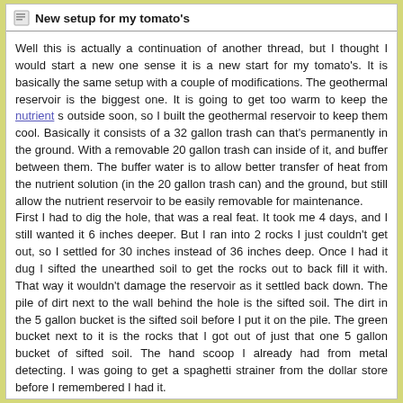New setup for my tomato's
Well this is actually a continuation of another thread, but I thought I would start a new one sense it is a new start for my tomato's. It is basically the same setup with a couple of modifications. The geothermal reservoir is the biggest one. It is going to get too warm to keep the nutrient s outside soon, so I built the geothermal reservoir to keep them cool. Basically it consists of a 32 gallon trash can that's permanently in the ground. With a removable 20 gallon trash can inside of it, and buffer between them. The buffer water is to allow better transfer of heat from the nutrient solution (in the 20 gallon trash can) and the ground, but still allow the nutrient reservoir to be easily removable for maintenance.
First I had to dig the hole, that was a real feat. It took me 4 days, and I still wanted it 6 inches deeper. But I ran into 2 rocks I just couldn't get out, so I settled for 30 inches instead of 36 inches deep. Once I had it dug I sifted the unearthed soil to get the rocks out to back fill it with. That way it wouldn't damage the reservoir as it settled back down. The pile of dirt next to the wall behind the hole is the sifted soil. The dirt in the 5 gallon bucket is the sifted soil before I put it on the pile. The green bucket next to it is the rocks that I got out of just that one 5 gallon bucket of sifted soil. The hand scoop I already had from metal detecting. I was going to get a spaghetti strainer from the dollar store before I remembered I had it.